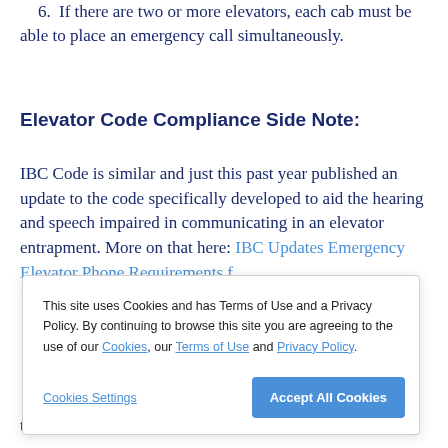6. If there are two or more elevators, each cab must be able to place an emergency call simultaneously.
Elevator Code Compliance Side Note:
IBC Code is similar and just this past year published an update to the code specifically developed to aid the hearing and speech impaired in communicating in an elevator entrapment. More on that here: IBC Updates Emergency Elevator Phone Requirements f...
This site uses Cookies and has Terms of Use and a Privacy Policy. By continuing to browse this site you are agreeing to the use of our Cookies, our Terms of Use and Privacy Policy.
this year. While not yet finalized or published,